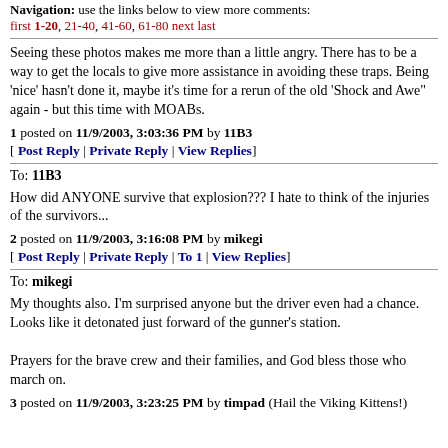Navigation: use the links below to view more comments: first 1-20, 21-40, 41-60, 61-80 next last
Seeing these photos makes me more than a little angry. There has to be a way to get the locals to give more assistance in avoiding these traps. Being 'nice' hasn't done it, maybe it's time for a rerun of the old 'Shock and Awe" again - but this time with MOABs.
1 posted on 11/9/2003, 3:03:36 PM by 11B3
[ Post Reply | Private Reply | View Replies]
To: 11B3
How did ANYONE survive that explosion??? I hate to think of the injuries of the survivors...
2 posted on 11/9/2003, 3:16:08 PM by mikegi
[ Post Reply | Private Reply | To 1 | View Replies]
To: mikegi
My thoughts also. I'm surprised anyone but the driver even had a chance. Looks like it detonated just forward of the gunner's station.

Prayers for the brave crew and their families, and God bless those who march on.
3 posted on 11/9/2003, 3:23:25 PM by timpad (Hail the Viking Kittens!)